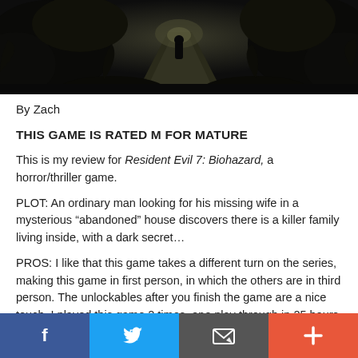[Figure (photo): Dark atmospheric screenshot from Resident Evil 7: Biohazard showing a lone figure on a path surrounded by dark foliage]
By Zach
THIS GAME IS RATED M FOR MATURE
This is my review for Resident Evil 7: Biohazard, a horror/thriller game.
PLOT: An ordinary man looking for his missing wife in a mysterious “abandoned” house discovers there is a killer family living inside, with a dark secret…
PROS: I like that this game takes a different turn on the series, making this game in first person, in which the others are in third person. The unlockables after you finish the game are a nice touch. I played this game 2 times, one play through in 25 hours, and one in 4 hours and 55 mins. This game is
[Figure (infographic): Social media sharing bar with Facebook, Twitter, email, and plus buttons]